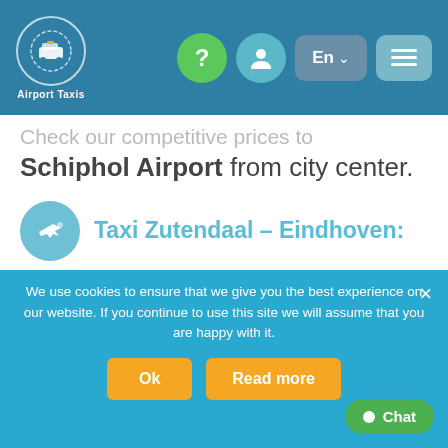Airport Taxis – header navigation with logo, help, account, language (En), and menu buttons
Check our competitive prices to Schiphol Airport from city center.
Taxi Zutendaal – Eindhoven:
Comfortable taxi from Eindhoven Airport to Zutendaal. Or from city center to the airport Eindhoven. This connection makes a
We use cookies to ensure that we give you the best experience on our website. If you continue to use this site we will assume that you are happy with it.